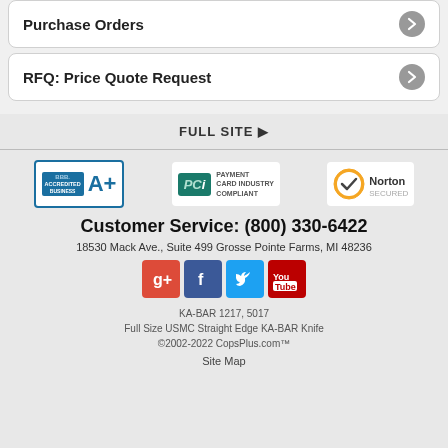Purchase Orders
RFQ: Price Quote Request
FULL SITE ▶
[Figure (logo): BBB Accredited Business A+ badge]
[Figure (logo): PCI Payment Card Industry Compliant badge]
[Figure (logo): Norton Secured badge]
Customer Service: (800) 330-6422
18530 Mack Ave., Suite 499 Grosse Pointe Farms, MI 48236
[Figure (illustration): Social media icons: Google+, Facebook, Twitter, YouTube]
KA-BAR 1217, 5017
Full Size USMC Straight Edge KA-BAR Knife
©2002-2022 CopsPlus.com™
Site Map